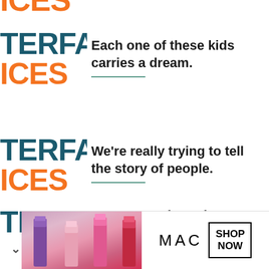[Figure (logo): Partially visible orange text at top left — cropped logo/wordmark]
[Figure (logo): TERFA in dark teal and ICES in orange, partial left-side logo — first block]
Each one of these kids carries a dream.
[Figure (logo): TERFA in dark teal and ICES in orange, partial left-side logo — second block]
We're really trying to tell the story of people.
[Figure (logo): TERFA in dark teal, partial left-side logo — third block]
Route 66: Where the American Story is the Muslim Story
[Figure (illustration): MAC cosmetics advertisement banner with lipsticks and SHOP NOW button]